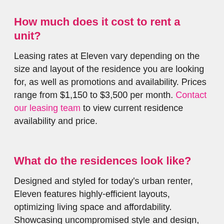How much does it cost to rent a unit?
Leasing rates at Eleven vary depending on the size and layout of the residence you are looking for, as well as promotions and availability. Prices range from $1,150 to $3,500 per month. Contact our leasing team to view current residence availability and price.
What do the residences look like?
Designed and styled for today's urban renter, Eleven features highly-efficient layouts, optimizing living space and affordability. Showcasing uncompromised style and design, every suite has been carefully crafted to offer the perfect form and finish.